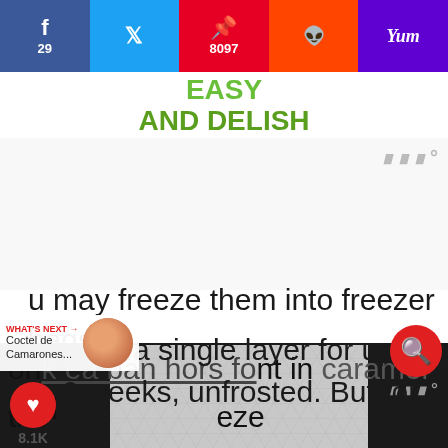f 29 | [twitter] | p 8097 | [reddit] | Yum
[Figure (logo): Easy and Delish website logo — text reads 'EASY AND DELISH' in green]
u may freeze them into freezer bags iners in a single layer for up to 6 weeks, unfrosted. But for that,
WHAT'S NEXT → Coctel de Camarones...
only kabanners front in caramel and the ... eze